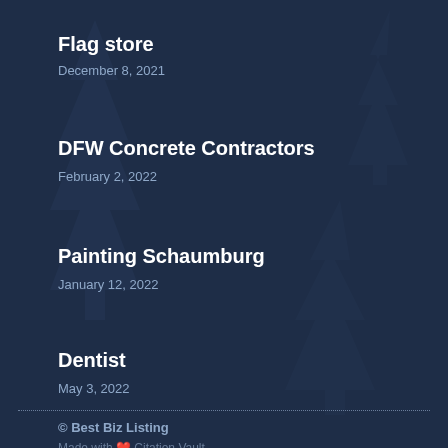Flag store
December 8, 2021
DFW Concrete Contractors
February 2, 2022
Painting Schaumburg
January 12, 2022
Dentist
May 3, 2022
© Best Biz Listing
Made with ❤ Citation Vault